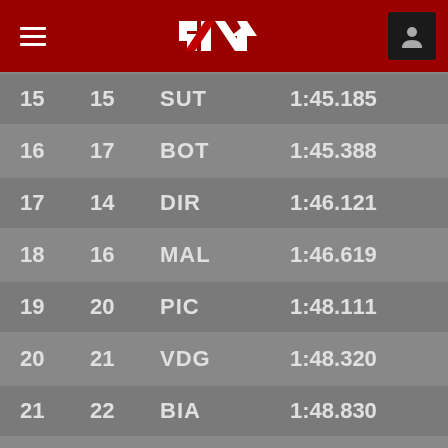[Figure (logo): Formula 1 app header with hamburger menu, F1 logo, and user icon on dark red background]
| Pos | No | Driver | Time |
| --- | --- | --- | --- |
| 15 | 15 | SUT | 1:45.185 |
| 16 | 17 | BOT | 1:45.388 |
| 17 | 14 | DIR | 1:46.121 |
| 18 | 16 | MAL | 1:46.619 |
| 19 | 20 | PIC | 1:48.111 |
| 20 | 21 | VDG | 1:48.320 |
| 21 | 22 | BIA | 1:48.830 |